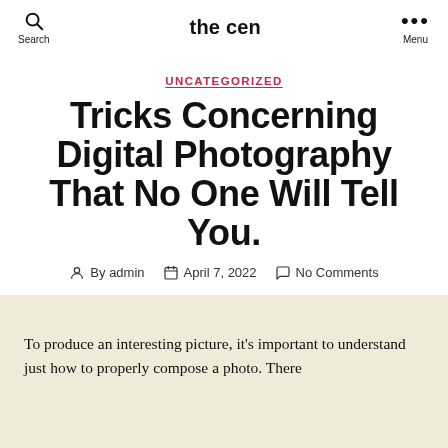the cen
UNCATEGORIZED
Tricks Concerning Digital Photography That No One Will Tell You.
By admin   April 7, 2022   No Comments
To produce an interesting picture, it's important to understand just how to properly compose a photo. There